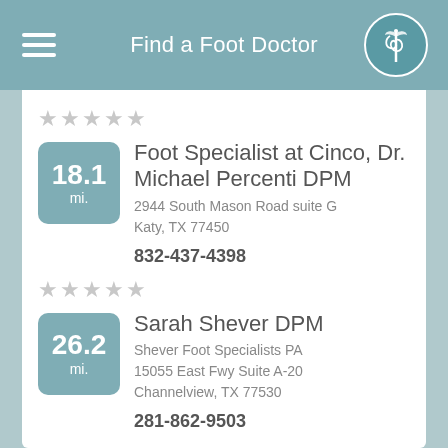Find a Foot Doctor
[Figure (other): Five empty star rating icons (gray)]
18.1 mi.
Foot Specialist at Cinco, Dr. Michael Percenti DPM
2944 South Mason Road suite G
Katy, TX 77450
832-437-4398
[Figure (other): Five empty star rating icons (gray)]
26.2 mi.
Sarah Shever DPM
Shever Foot Specialists PA
15055 East Fwy Suite A-20
Channelview, TX 77530
281-862-9503